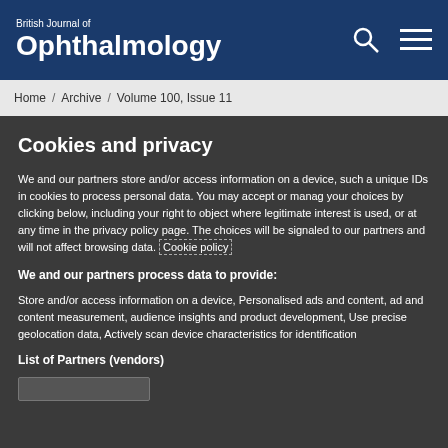British Journal of Ophthalmology
Home / Archive / Volume 100, Issue 11
Cookies and privacy
We and our partners store and/or access information on a device, such as unique IDs in cookies to process personal data. You may accept or manage your choices by clicking below, including your right to object where legitimate interest is used, or at any time in the privacy policy page. These choices will be signaled to our partners and will not affect browsing data. Cookie policy
We and our partners process data to provide:
Store and/or access information on a device, Personalised ads and content, ad and content measurement, audience insights and product development, Use precise geolocation data, Actively scan device characteristics for identification
List of Partners (vendors)